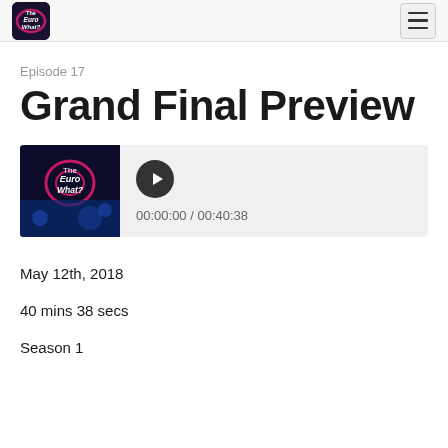EuroWhat? logo and navigation
Episode 17
Grand Final Preview
[Figure (other): Podcast audio player with thumbnail showing 'The EuroWhat?' podcast art, a play button, and time display showing 00:00:00 / 00:40:38]
May 12th, 2018
40 mins 38 secs
Season 1